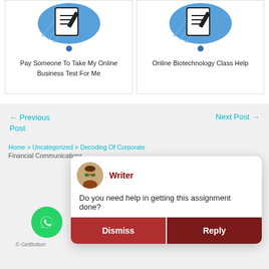[Figure (illustration): Card with icon for 'Pay Someone To Take My Online Business Test For Me' service]
Pay Someone To Take My Online Business Test For Me
[Figure (illustration): Card with icon for 'Online Biotechnology Class Help' service]
Online Biotechnology Class Help
← Previous Post
Next Post →
Home > Uncategorized > Decoding Of Corporate Financial Communications
[Figure (screenshot): Chat popup with Writer avatar, message 'Do you need help in getting this assignment done?' and Dismiss/Reply buttons. WhatsApp floating button visible at bottom left.]